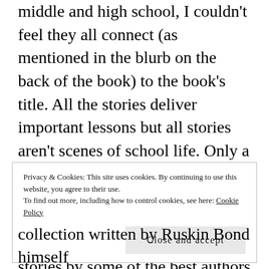middle and high school, I couldn't feel they all connect (as mentioned in the blurb on the back of the book) to the book's title. All the stories deliver important lessons but all stories aren't scenes of school life. Only a handful are.
I picked this book thinking it to be a collection of heartwarming stories by some of the best authors who ranked high in Ruskin
Privacy & Cookies: This site uses cookies. By continuing to use this website, you agree to their use.
To find out more, including how to control cookies, see here: Cookie Policy
collection written by Ruskin Bond himself